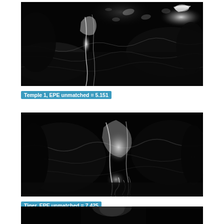[Figure (photo): Grayscale optical flow error visualization of Temple 1 scene — dark background with bright glowing edges around a running figure and birds in flight; high contrast white-edged contours on black]
Temple 1, EPE unmatched = 5.151
[Figure (photo): Grayscale optical flow error visualization of Tiger scene — dark background with bright white contours around a tiger figure, high contrast glowing edges on black]
Tiger, EPE unmatched = 7.425
[Figure (photo): Grayscale optical flow error visualization (partially visible) — dark scene with a face/head visible at bottom, cropped]